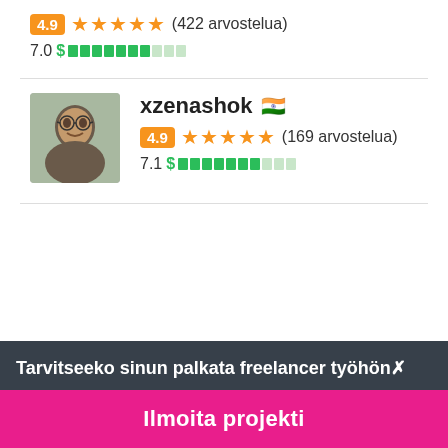4.9 ★★★★★ (422 arvostelua)
7.0 $ ██████████
xzenashok 🇮🇳
4.9 ★★★★★ (169 arvostelua)
7.1 $ ██████████
Tarvitseeko sinun palkata freelancer työhön✗
Ilmoita projekti